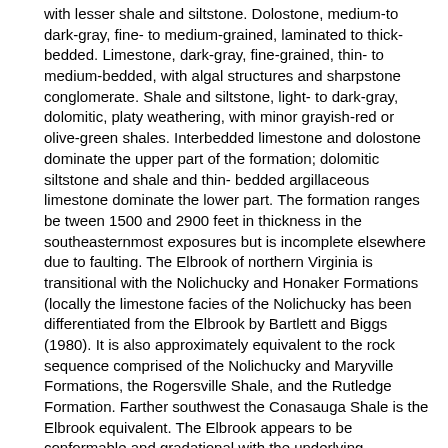with lesser shale and siltstone. Dolostone, medium-to dark-gray, fine- to medium-grained, laminated to thick-bedded. Limestone, dark-gray, fine-grained, thin- to medium-bedded, with algal structures and sharpstone conglomerate. Shale and siltstone, light- to dark-gray, dolomitic, platy weathering, with minor grayish-red or olive-green shales. Interbedded limestone and dolostone dominate the upper part of the formation; dolomitic siltstone and shale and thin- bedded argillaceous limestone dominate the lower part. The formation ranges be tween 1500 and 2900 feet in thickness in the southeasternmost exposures but is incomplete elsewhere due to faulting. The Elbrook of northern Virginia is transitional with the Nolichucky and Honaker Formations (locally the limestone facies of the Nolichucky has been differentiated from the Elbrook by Bartlett and Biggs (1980). It is also approximately equivalent to the rock sequence comprised of the Nolichucky and Maryville Formations, the Rogersville Shale, and the Rutledge Formation. Farther southwest the Conasauga Shale is the Elbrook equivalent. The Elbrook appears to be conformable and gradational with the underlying Waynesboro or Rome Formations. From Washington County to Augusta County much of the Elbrook Formation adjacent to the Pulaski and Staunton faults is a breccia of the "Max Meadows tecontic breccia type" (Cooper and Haff, 1940). These breccias are composed of crushed rock clasts that range from sand size to